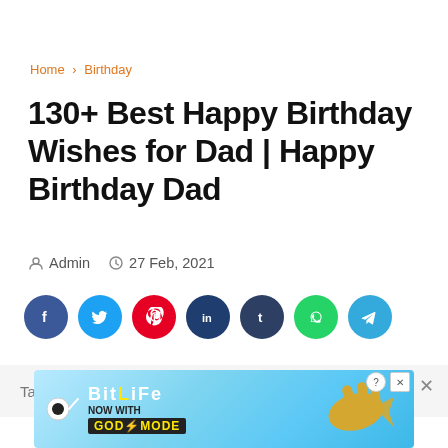Home > Birthday
130+ Best Happy Birthday Wishes for Dad | Happy Birthday Dad
Admin   27 Feb, 2021
[Figure (other): Social share buttons: Facebook, Twitter, Pinterest, LinkedIn, Tumblr, WhatsApp, Telegram]
Table of content
[Figure (screenshot): BitLife ad banner — NOW WITH GOD MODE]